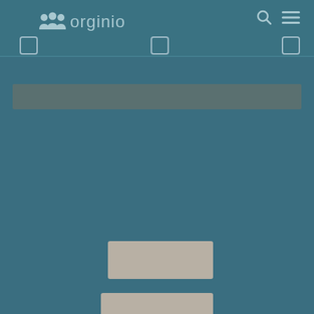[Figure (screenshot): orginio app navigation bar with logo showing three people icons and 'orginio' text, search icon, hamburger menu icon, and three checkbox placeholders below]
[Figure (other): Muted grayish-green horizontal bar below navigation area]
[Figure (other): Tan/beige rounded rectangle button centered in lower portion of page]
[Figure (other): Second tan/beige rounded rectangle partially visible at bottom of page]